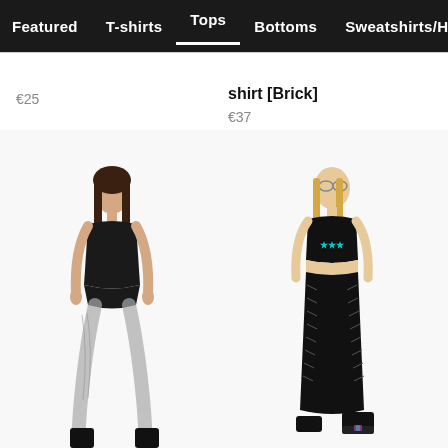Featured   T-shirts   Tops   Bottoms   Sweatshirts/H
€25
shirt [Brick]
€37
[Figure (photo): Female model wearing a black strapless bodysuit with fishnet stockings and black platform boots, standing full length on white background]
[Figure (photo): Female model wearing a black crop top with teal graphic print, black lace-up vinyl pants and black platform boots with holographic detail, standing full length on white background]